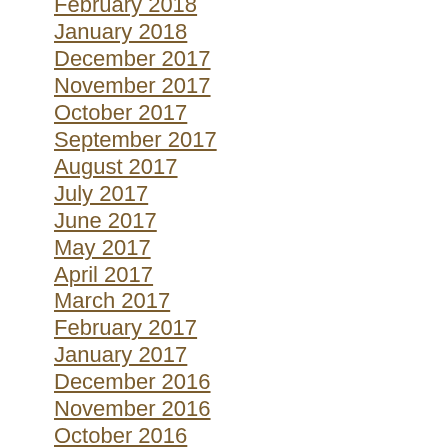February 2018
January 2018
December 2017
November 2017
October 2017
September 2017
August 2017
July 2017
June 2017
May 2017
April 2017
March 2017
February 2017
January 2017
December 2016
November 2016
October 2016
September 2016
August 2016